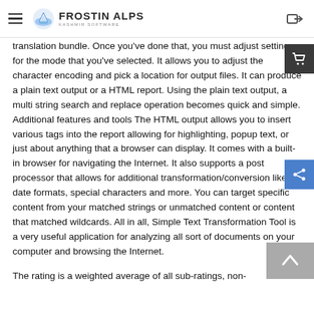≡  FROSTIN ALPS  [login icon]
translation bundle. Once you've done that, you must adjust settings for the mode that you've selected. It allows you to adjust the character encoding and pick a location for output files. It can produce a plain text output or a HTML report. Using the plain text output, a multi string search and replace operation becomes quick and simple. Additional features and tools The HTML output allows you to insert various tags into the report allowing for highlighting, popup text, or just about anything that a browser can display. It comes with a built-in browser for navigating the Internet. It also supports a post processor that allows for additional transformation/conversion like date formats, special characters and more. You can target specific content from your matched strings or unmatched content or content that matched wildcards. All in all, Simple Text Transformation Tool is a very useful application for analyzing all sort of documents on your computer and browsing the Internet.
The rating is a weighted average of all sub-ratings, non-